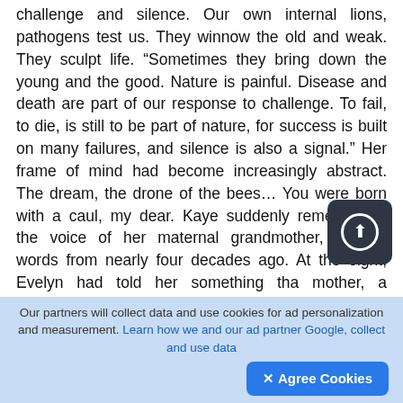challenge and silence. Our own internal lions, pathogens test us. They winnow the old and weak. They sculpt life. “Sometimes they bring down the young and the good. Nature is painful. Disease and death are part of our response to challenge. To fail, to die, is still to be part of nature, for success is built on many failures, and silence is also a signal.” Her frame of mind had become increasingly abstract. The dream, the drone of the bees… You were born with a caul, my dear. Kaye suddenly remembered the voice of her maternal grandmother, Evelyn; words from nearly four decades ago. At the eight, Evelyn had told her something tha mother, a practical woman, had never thought to mention. “You came into this world with your tiny head covered. You were born with a caul. I was
Our partners will collect data and use cookies for ad personalization and measurement. Learn how we and our ad partner Google, collect and use data